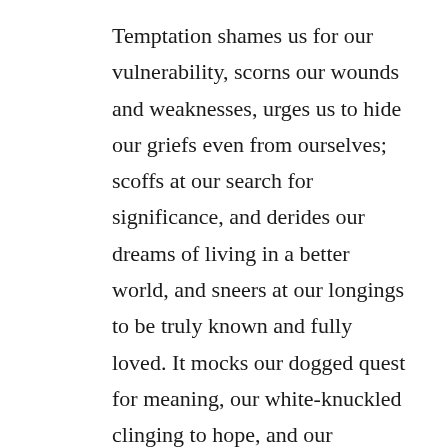Temptation shames us for our vulnerability, scorns our wounds and weaknesses, urges us to hide our griefs even from ourselves; scoffs at our search for significance, and derides our dreams of living in a better world, and sneers at our longings to be truly known and fully loved. It mocks our dogged quest for meaning, our white-knuckled clinging to hope, and our tenacious but tenuous trust that al shall be well.
As most readers of this blog know, for the last three years, I've lived with the limits, dependencies, and vulnerabilities of cancer